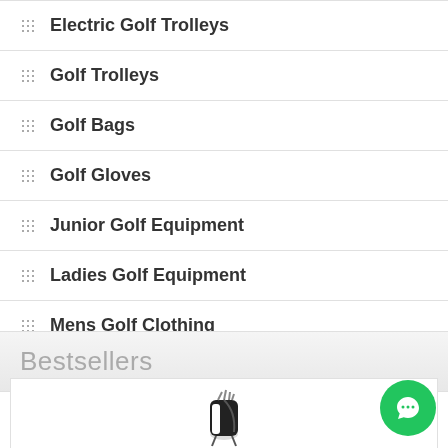Electric Golf Trolleys
Golf Trolleys
Golf Bags
Golf Gloves
Junior Golf Equipment
Ladies Golf Equipment
Mens Golf Clothing
Bestsellers
[Figure (photo): Golf bag with clubs standing upright, black and white, shown in product listing]